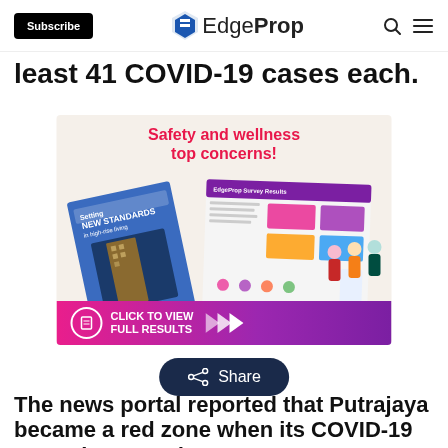Subscribe | EdgeProp
least 41 COVID-19 cases each.
[Figure (infographic): EdgeProp advertisement: Safety and wellness top concerns! Click to view full results. Shows a magazine spread titled 'Setting New Standards in high-rise living' with colorful survey results panels and illustrations of people.]
The news portal reported that Putrajaya became a red zone when its COVID-19 cases increased